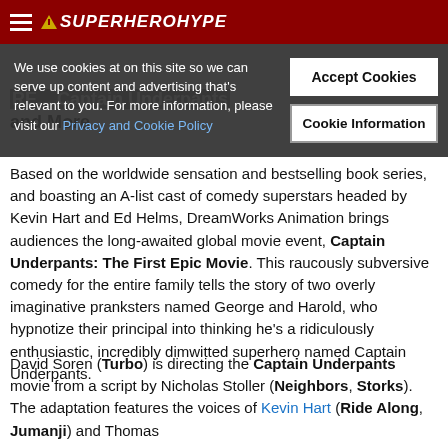SuperHeroHype
[Figure (screenshot): Cookie consent overlay with text: We use cookies at on this site so we can serve up content and advertising that's relevant to you. For more information, please visit our Privacy and Cookie Policy. Buttons: Accept Cookies, Cookie Information.]
RE... Captain Underpants and More
Based on the worldwide sensation and bestselling book series, and boasting an A-list cast of comedy superstars headed by Kevin Hart and Ed Helms, DreamWorks Animation brings audiences the long-awaited global movie event, Captain Underpants: The First Epic Movie. This raucously subversive comedy for the entire family tells the story of two overly imaginative pranksters named George and Harold, who hypnotize their principal into thinking he's a ridiculously enthusiastic, incredibly dimwitted superhero named Captain Underpants.
David Soren (Turbo) is directing the Captain Underpants movie from a script by Nicholas Stoller (Neighbors, Storks). The adaptation features the voices of Kevin Hart (Ride Along, Jumanji) and Thomas...